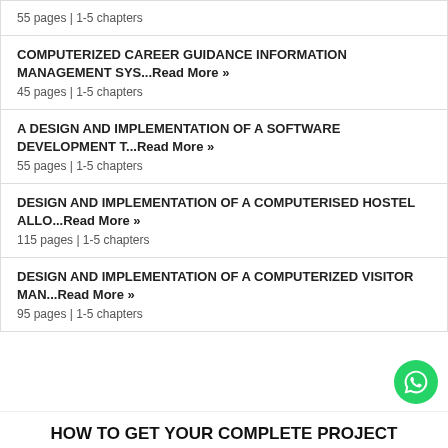55 pages | 1-5 chapters
COMPUTERIZED CAREER GUIDANCE INFORMATION MANAGEMENT SYS...Read More »
45 pages | 1-5 chapters
A DESIGN AND IMPLEMENTATION OF A SOFTWARE DEVELOPMENT T...Read More »
55 pages | 1-5 chapters
DESIGN AND IMPLEMENTATION OF A COMPUTERISED HOSTEL ALLO...Read More »
115 pages | 1-5 chapters
DESIGN AND IMPLEMENTATION OF A COMPUTERIZED VISITOR MAN...Read More »
95 pages | 1-5 chapters
HOW TO GET YOUR COMPLETE PROJECT